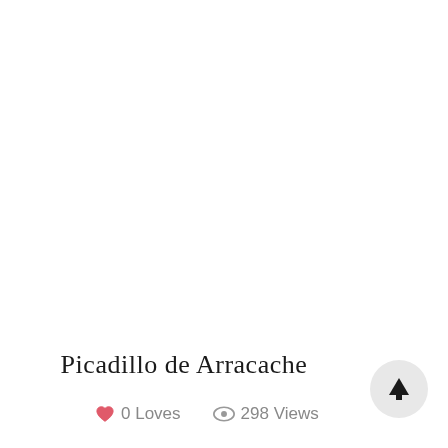Picadillo de Arracache
0 Loves   298 Views